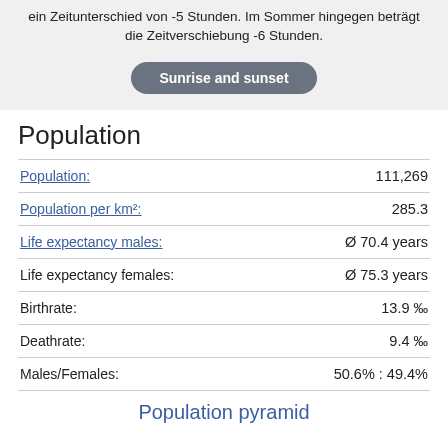ein Zeitunterschied von -5 Stunden. Im Sommer hingegen beträgt die Zeitverschiebung -6 Stunden.
Sunrise and sunset
Population
| Label | Value |
| --- | --- |
| Population: | 111,269 |
| Population per km²: | 285.3 |
| Life expectancy males: | Ø 70.4 years |
| Life expectancy females: | Ø 75.3 years |
| Birthrate: | 13.9 ‰ |
| Deathrate: | 9.4 ‰ |
| Males/Females: | 50.6% : 49.4% |
Population pyramid